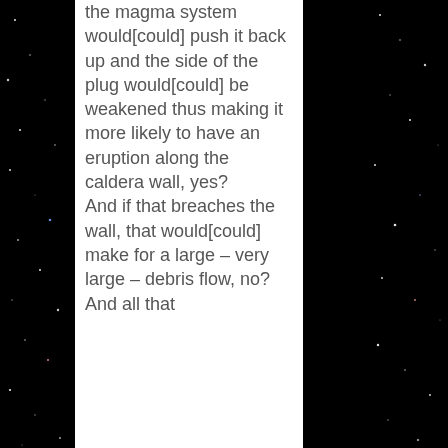the magma system would[could] push it back up and the side of the plug would[could] be weakened thus making it more likely to have an eruption along the caldera wall, yes? And if that breaches the wall, that would[could] make for a large – very large – debris flow, no? And all that